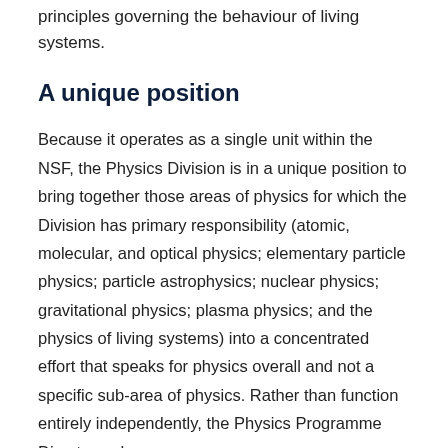behaviour of plasmas, to searching for possible overriding principles governing the behaviour of living systems.
A unique position
Because it operates as a single unit within the NSF, the Physics Division is in a unique position to bring together those areas of physics for which the Division has primary responsibility (atomic, molecular, and optical physics; elementary particle physics; particle astrophysics; nuclear physics; gravitational physics; plasma physics; and the physics of living systems) into a concentrated effort that speaks for physics overall and not a specific sub-area of physics. Rather than function entirely independently, the Physics Programme Directors who